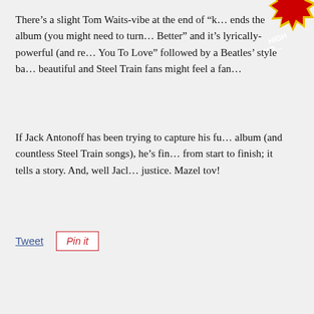There's a slight Tom Waits-vibe at the end of "… ends the album (you might need to turn … Better" and it's lyrically-powerful (and re… You To Love" followed by a Beatles' style ba… beautiful and Steel Train fans might feel a fan…
If Jack Antonoff has been trying to capture his fu… album (and countless Steel Train songs), he's fin… from start to finish; it tells a story. And, well Jac… justice. Mazel tov!
[Figure (illustration): A red and yellow starburst badge with text 'HIGH VO...' partially visible, positioned in the top-right corner]
Tweet
Pin it